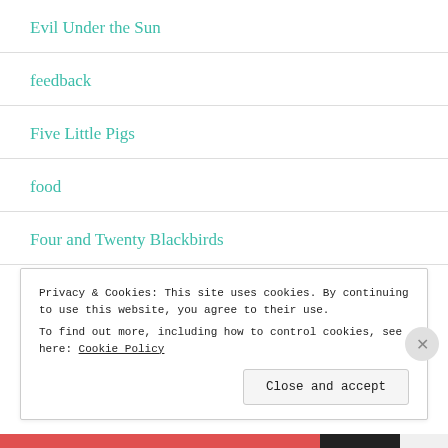Evil Under the Sun
feedback
Five Little Pigs
food
Four and Twenty Blackbirds
fun whatsits
Privacy & Cookies: This site uses cookies. By continuing to use this website, you agree to their use.
To find out more, including how to control cookies, see here: Cookie Policy
Close and accept